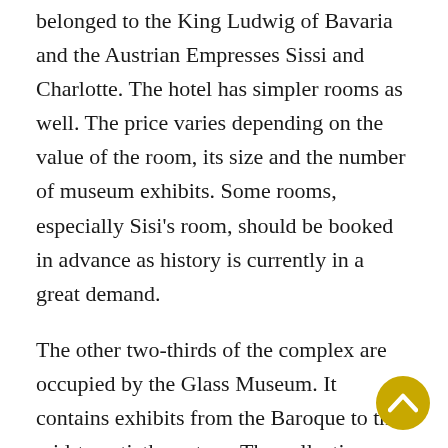belonged to the King Ludwig of Bavaria and the Austrian Empresses Sissi and Charlotte. The hotel has simpler rooms as well. The price varies depending on the value of the room, its size and the number of museum exhibits. Some rooms, especially Sisi's room, should be booked in advance as history is currently in a great demand.
The other two-thirds of the complex are occupied by the Glass Museum. It contains exhibits from the Baroque to the mid-twentieth century. The collection includes 30 thousand items, also from the well-known regions such as Silesia and Bohemia (now part of Poland and the Czech Republic). Who is unaware of the great Bohemian crystal? Here you can also find the samples of the far-off Rococo and the Biedermeier (XIX century), neo-classicism, art deco and modernism. There is a wide variety of items in the museum, from tiny souvenirs and toiletware to glasses, vases and whole